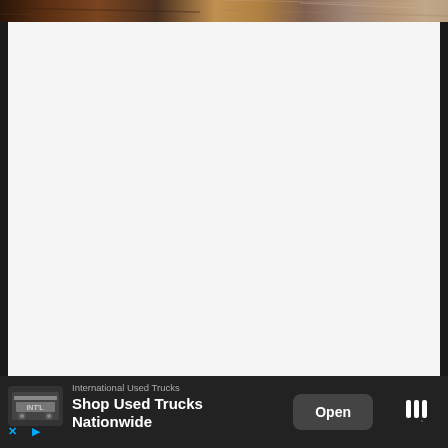[Figure (photo): Partial view of a wooden surface or instrument, warm brown tones, cropped at top of page]
[Figure (other): Large light gray empty content area, appears to be a blank or loading web/app view]
[Figure (other): Mobile advertisement banner at bottom: International Used Trucks - Shop Used Trucks Nationwide, with Open button and Tidal/app icon. Ad controls (X and arrow) visible at bottom left.]